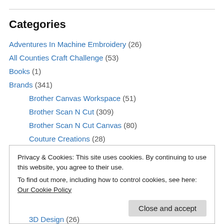Categories
Adventures In Machine Embroidery (26)
All Counties Craft Challenge (53)
Books (1)
Brands (341)
Brother Canvas Workspace (51)
Brother Scan N Cut (309)
Brother Scan N Cut Canvas (80)
Couture Creations (28)
Inkadinkado (1)
Privacy & Cookies: This site uses cookies. By continuing to use this website, you agree to their use.
To find out more, including how to control cookies, see here: Our Cookie Policy
Close and accept
3D Design (26)